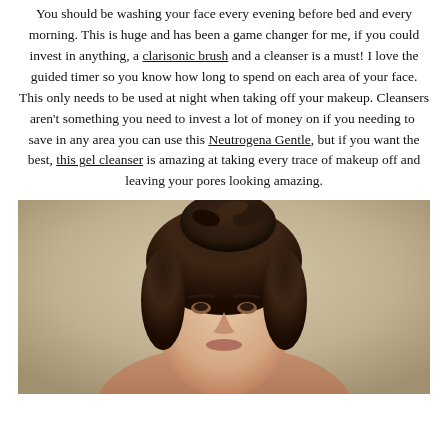You should be washing your face every evening before bed and every morning. This is huge and has been a game changer for me, if you could invest in anything, a clarisonic brush and a cleanser is a must! I love the guided timer so you know how long to spend on each area of your face. This only needs to be used at night when taking off your makeup. Cleansers aren't something you need to invest a lot of money on if you needing to save in any area you can use this Neutrogena Gentle, but if you want the best, this gel cleanser is amazing at taking every trace of makeup off and leaving your pores looking amazing.
[Figure (photo): A woman with dark hair pulled up, facing the camera, wearing a bare-shoulder top, against a neutral beige background.]